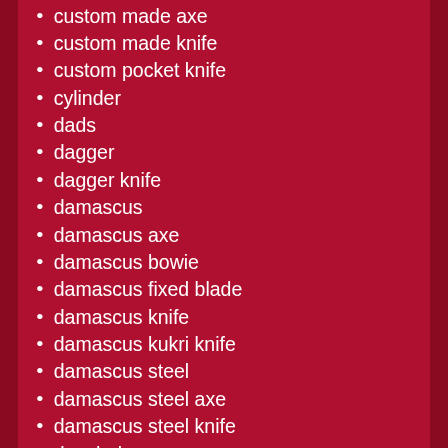custom made axe
custom made knife
custom pocket knife
cylinder
dads
dagger
dagger knife
damascus
damascus axe
damascus bowie
damascus fixed blade
damascus knife
damascus kukri knife
damascus steel
damascus steel axe
damascus steel knife
danchel
days
deep
dharm
diamond willow
dish
dome
dome tent
donald